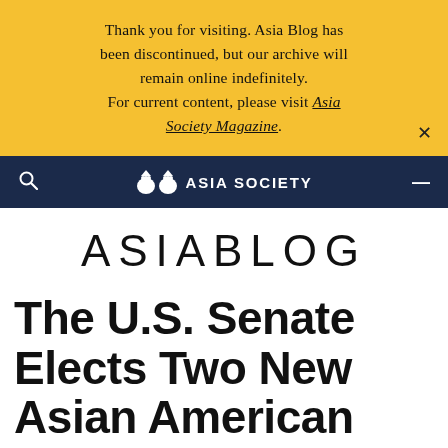Thank you for visiting. Asia Blog has been discontinued, but our archive will remain online indefinitely. For current content, please visit Asia Society Magazine.
[Figure (logo): Asia Society logo — stylized tigers with 'ASIA SOCIETY' text in white on navy background navigation bar]
ASIABLOG
The U.S. Senate Elects Two New Asian American Members